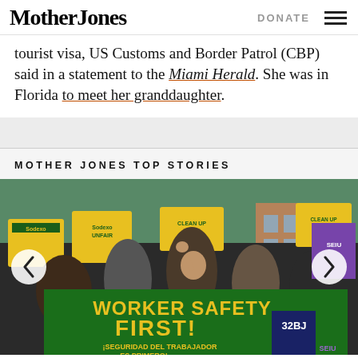Mother Jones | DONATE
tourist visa, US Customs and Border Patrol (CBP) said in a statement to the Miami Herald. She was in Florida to meet her granddaughter.
MOTHER JONES TOP STORIES
[Figure (photo): Protest photo showing workers holding a large green banner reading 'WORKER SAFETY FIRST! ¡SEGURIDAD DEL TRABAJADOR ES PRIMERO!' with yellow signs reading 'Sodexo UNFAIR' in the background. A man in the center is raising his fist. Carousel navigation arrows visible on left and right sides.]